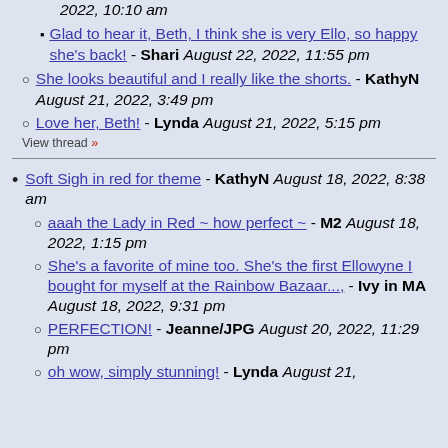2022, 10:10 am (continuation, italic)
Glad to hear it, Beth, I think she is very Ello, so happy she's back! - Shari August 22, 2022, 11:55 pm
She looks beautiful and I really like the shorts. - KathyN August 21, 2022, 3:49 pm
Love her, Beth! - Lynda August 21, 2022, 5:15 pm
View thread »
Soft Sigh in red for theme - KathyN August 18, 2022, 8:38 am
aaah the Lady in Red ~ how perfect ~ - M2 August 18, 2022, 1:15 pm
She's a favorite of mine too. She's the first Ellowyne I bought for myself at the Rainbow Bazaar..., - Ivy in MA August 18, 2022, 9:31 pm
PERFECTION! - Jeanne/JPG August 20, 2022, 11:29 pm
oh wow, simply stunning! - Lynda August 21,